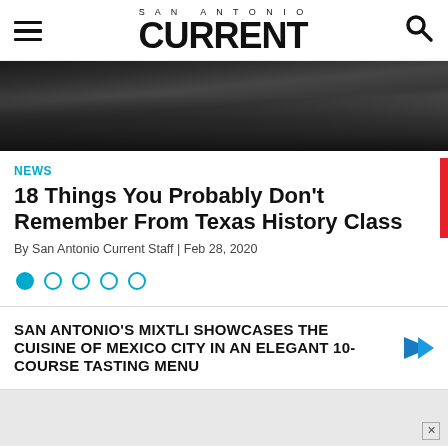SAN ANTONIO CURRENT
[Figure (photo): Black and white historical photograph showing figures lying on the ground, a battle or historical scene from Texas history]
NEWS
18 Things You Probably Don't Remember From Texas History Class
By San Antonio Current Staff | Feb 28, 2020
[Figure (other): Pagination dots: one filled cyan dot followed by four empty cyan-outlined dots]
SAN ANTONIO'S MIXTLI SHOWCASES THE CUISINE OF MEXICO CITY IN AN ELEGANT 10-COURSE TASTING MENU